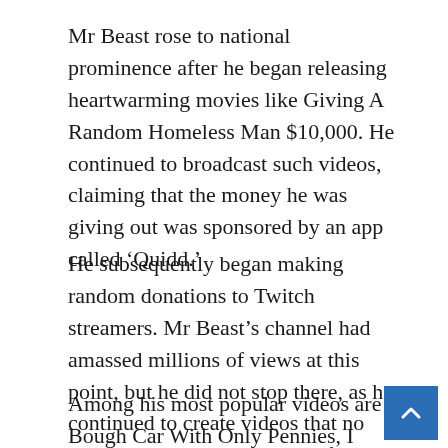Mr Beast rose to national prominence after he began releasing heartwarming movies like Giving A Random Homeless Man $10,000. He continued to broadcast such videos, claiming that the money he was giving out was sponsored by an app called ‘Quidd.’
He subsequently began making random donations to Twitch streamers. Mr Beast’s channel had amassed millions of views at this point, but he did not stop there, as he continued to create videos that no one else had seen or heard before.
Among his most popular videos are I Bough Car With Only Pennies, I Donated $30,000 To